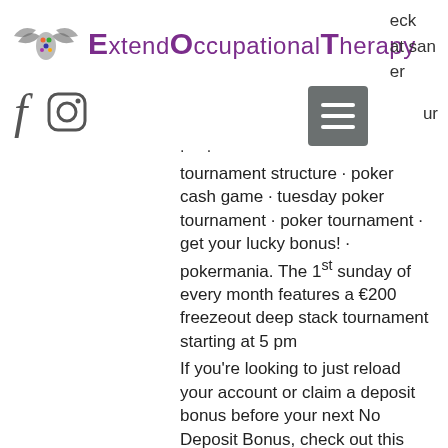[Figure (logo): Extend Occupational Therapy logo with stylized hand icon and purple text]
eck at san er
[Figure (logo): Facebook f icon and Instagram icon social media links, plus hamburger menu button]
ur
tournament structure · poker cash game · tuesday poker tournament · poker tournament · get your lucky bonus! · pokermania. The 1st sunday of every month features a €200 freezeout deep stack tournament starting at 5 pm
If you're looking to just reload your account or claim a deposit bonus before your next No Deposit Bonus, check out this promotional offer. When you make a deposit of at least $30 and use the coupon code JACKPOTHUNTER you will get a 275% Match Bonus, spielbank casino poker tournaments. As an added bonus there will be no maximum cashout. This offer is for those who plan to play only Slots, Bing